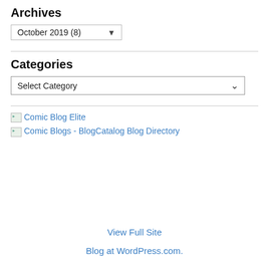Archives
October 2019  (8)
Categories
Select Category
Comic Blog Elite
Comic Blogs - BlogCatalog Blog Directory
View Full Site
Blog at WordPress.com.